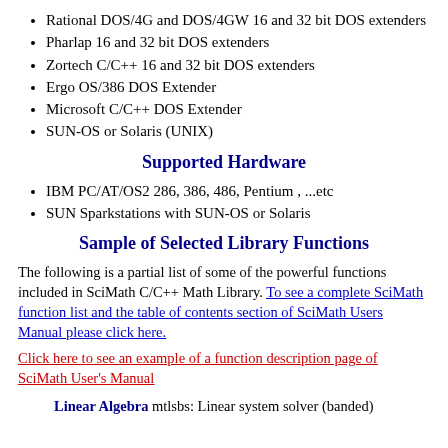Rational DOS/4G and DOS/4GW 16 and 32 bit DOS extenders
Pharlap 16 and 32 bit DOS extenders
Zortech C/C++ 16 and 32 bit DOS extenders
Ergo OS/386 DOS Extender
Microsoft C/C++ DOS Extender
SUN-OS or Solaris (UNIX)
Supported Hardware
IBM PC/AT/OS2 286, 386, 486, Pentium , ...etc
SUN Sparkstations with SUN-OS or Solaris
Sample of Selected Library Functions
The following is a partial list of some of the powerful functions included in SciMath C/C++ Math Library. To see a complete SciMath function list and the table of contents section of SciMath Users Manual please click here.
Click here to see an example of a function description page of SciMath User's Manual
Linear Algebra mtlsbs: Linear system solver (banded)